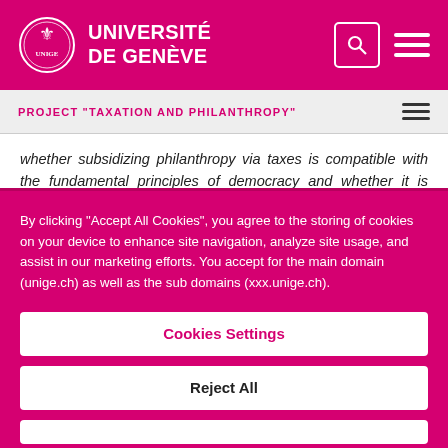[Figure (logo): Université de Genève logo with circular emblem and text]
UNIVERSITÉ DE GENÈVE
PROJECT "TAXATION AND PHILANTHROPY"
whether subsidizing philanthropy via taxes is compatible with the fundamental principles of democracy and whether it is acceptable and
By clicking "Accept All Cookies", you agree to the storing of cookies on your device to enhance site navigation, analyze site usage, and assist in our marketing efforts. You accept for the main domain (unige.ch) as well as the sub domains (xxx.unige.ch).
Cookies Settings
Reject All